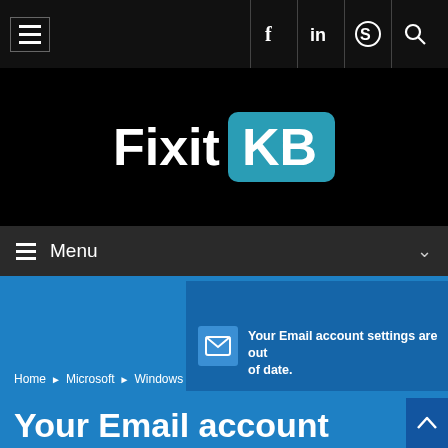Fixit KB — navigation top bar with hamburger menu, Facebook, LinkedIn, Skype, and Search icons
[Figure (logo): Fixit KB logo: white bold text 'Fixit' followed by 'KB' in white on a teal/blue rounded rectangle background, centered on black header]
Menu
[Figure (screenshot): Windows notification popup reading: Your Email account settings are out of date. Shows a mail icon on a blue background.]
Home ▶ Microsoft ▶ Windows
Your Email account settings are out of date